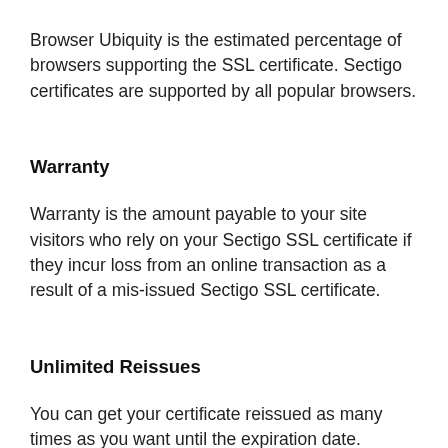Browser Ubiquity is the estimated percentage of browsers supporting the SSL certificate. Sectigo certificates are supported by all popular browsers.
Warranty
Warranty is the amount payable to your site visitors who rely on your Sectigo SSL certificate if they incur loss from an online transaction as a result of a mis-issued Sectigo SSL certificate.
Unlimited Reissues
You can get your certificate reissued as many times as you want until the expiration date. Certificate reissues are free.
Sectigo's unique 'point-to-verify' technology shows real time